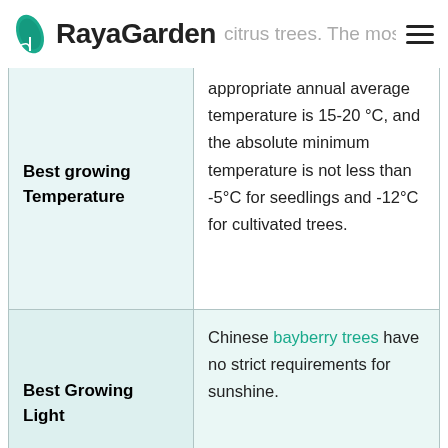RayaGarden — citrus trees. The most
| Best growing Temperature | appropriate annual average temperature is 15-20 °C, and the absolute minimum temperature is not less than -5°C for seedlings and -12°C for cultivated trees. |
| Best Growing Light | Chinese bayberry trees have no strict requirements for sunshine. |